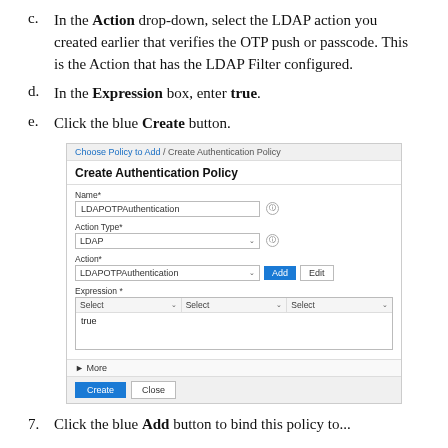c. In the Action drop-down, select the LDAP action you created earlier that verifies the OTP push or passcode. This is the Action that has the LDAP Filter configured.
d. In the Expression box, enter true.
e. Click the blue Create button.
[Figure (screenshot): Screenshot of the Create Authentication Policy form showing fields: Name (LDAPOTPAuthentication), Action Type (LDAP), Action (LDAPOTPAuthentication) with Add and Edit buttons, Expression section with three Select dropdowns and 'true' entered in the text area, a More collapsible section, and Create/Close buttons at the bottom. Breadcrumb at top: Choose Policy to Add / Create Authentication Policy.]
7. Click the blue Add button to bind this policy to...